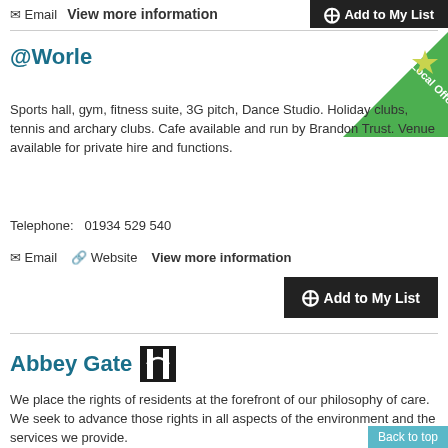✉ Email  View more information
⊕Add to My List
@Worle
[Figure (illustration): Green triangular 'Local Offer' badge with a yellow star in the top right corner of the listing card]
Sports hall, gym, fitness suite, 3G pitch, Dance Studio. Holiday clubs, tennis and archary clubs. Cafe available and run by Brandon Trust. Venue available for private hire and functions.
Telephone:   01934 529 540
✉ Email  🔗 Website  View more information
⊕Add to My List
Abbey Gate
We place the rights of residents at the forefront of our philosophy of care. We seek to advance those rights in all aspects of the environment and the services we provide.